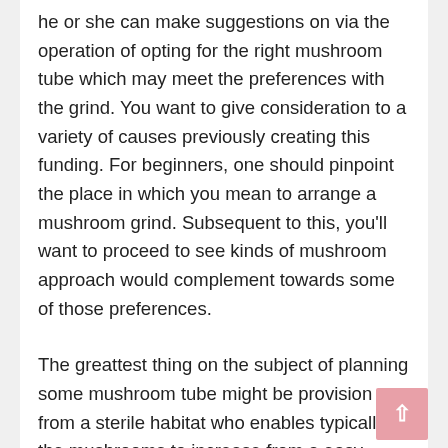he or she can make suggestions on via the operation of opting for the right mushroom tube which may meet the preferences with the grind. You want to give consideration to a variety of causes previously creating this funding. For beginners, one should pinpoint the place in which you mean to arrange a mushroom grind. Subsequent to this, you'll want to proceed to see kinds of mushroom approach would complement towards some of those preferences.
The greattest thing on the subject of planning some mushroom tube might be provision from a sterile habitat who enables typically the mushrooms to increase from a easy price. As a, you must consult with some specialist what